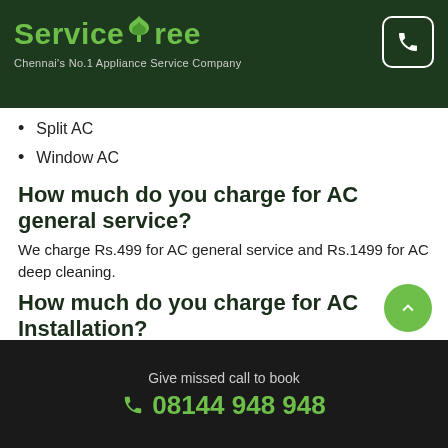ServiceTree - Chennai's No.1 Appliance Service Company
Split AC
Window AC
How much do you charge for AC general service?
We charge Rs.499 for AC general service and Rs.1499 for AC deep cleaning.
How much do you charge for AC Installation?
We charge Rs.1,800 for AC installation per unit and Rs.2,300 for both uninstallation and installation.
How much do you charge for AC Uninstallation?
We charge Rs.750 for AC uninstallation per unit.
Do you provide warranty?
Give missed call to book 08144 948 948